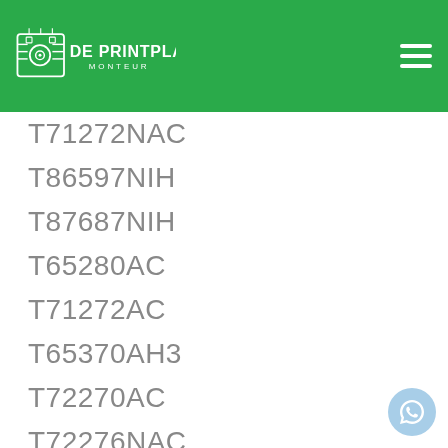De Printplaat Monteur
T71272NAC
T86597NIH
T87687NIH
T65280AC
T71272AC
T65370AH3
T72270AC
T72276NAC
T67682NIH
T75373NAH